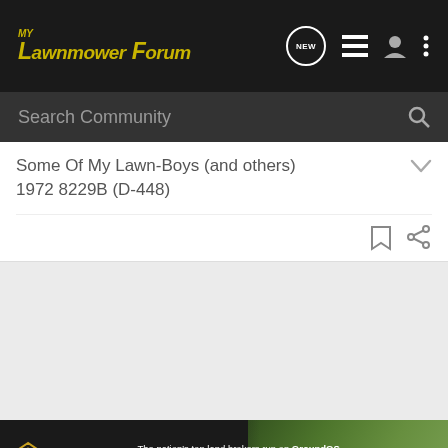My Lawnmower Forum
Search Community
Some Of My Lawn-Boys (and others)
1972 8229B (D-448)
[Figure (screenshot): GroundOS advertisement banner: The nation's top land brokers run on GroundOS. REQUEST A DEMO]